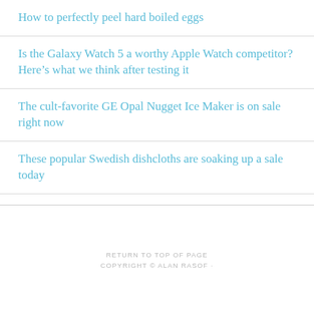How to perfectly peel hard boiled eggs
Is the Galaxy Watch 5 a worthy Apple Watch competitor? Here’s what we think after testing it
The cult-favorite GE Opal Nugget Ice Maker is on sale right now
These popular Swedish dishcloths are soaking up a sale today
RETURN TO TOP OF PAGE
COPYRIGHT © ALAN RASOF ·